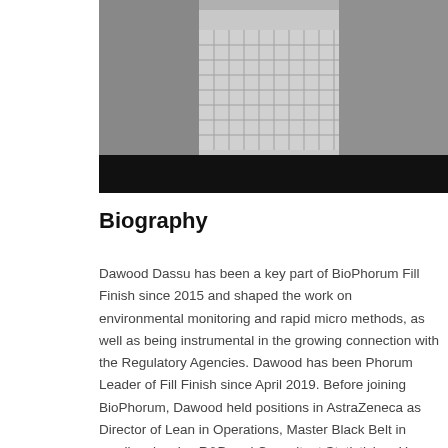[Figure (photo): Black and white photo of a person in a checkered shirt, cropped at upper portion showing torso and partial head area, with a dark black banner/bar at the bottom of the image.]
Biography
Dawood Dassu has been a key part of BioPhorum Fill Finish since 2015 and shaped the work on environmental monitoring and rapid micro methods, as well as being instrumental in the growing connection with the Regulatory Agencies. Dawood has been Phorum Leader of Fill Finish since April 2019. Before joining BioPhorum, Dawood held positions in AstraZeneca as Director of Lean in Operations, Master Black Belt in small molecules R&D and Consultant Statistician. He has also worked as an independent management consultant in life sciences working on improvement and innovation projects.